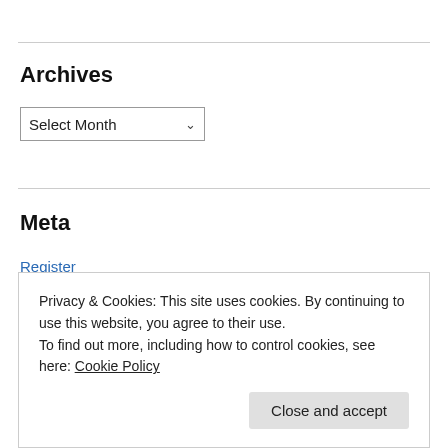Archives
Select Month
Meta
Register
Log in
Entries feed
Comments feed
Privacy & Cookies: This site uses cookies. By continuing to use this website, you agree to their use.
To find out more, including how to control cookies, see here: Cookie Policy
Close and accept